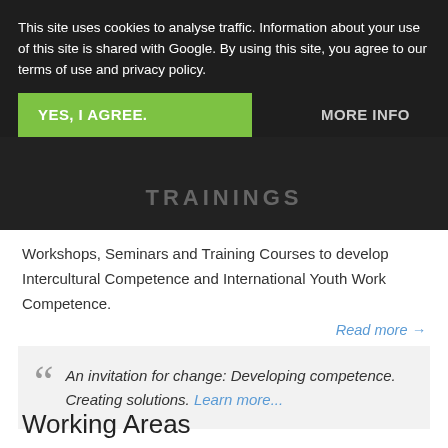This site uses cookies to analyse traffic. Information about your use of this site is shared with Google. By using this site, you agree to our terms of use and privacy policy.
YES, I AGREE.
MORE INFO
TRAININGS
Workshops, Seminars and Training Courses to develop Intercultural Competence and International Youth Work Competence.
Read more →
An invitation for change: Developing competence. Creating solutions. Learn more...
Working Areas